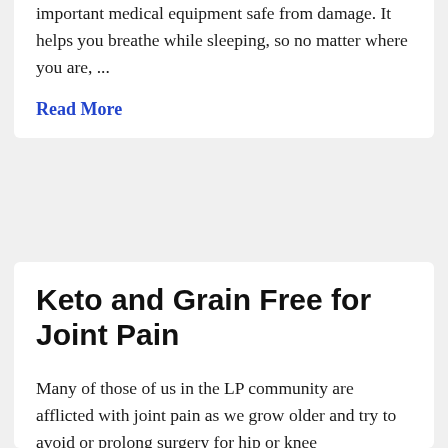important medical equipment safe from damage. It helps you breathe while sleeping, so no matter where you are, ...
Read More
Keto and Grain Free for Joint Pain
Many of those of us in the LP community are afflicted with joint pain as we grow older and try to avoid or prolong surgery for hip or knee replacements. As an LP with pseudoachondroplasia, my hips started hurting around the age of 30 and seemed to be getting progressively worse. Family